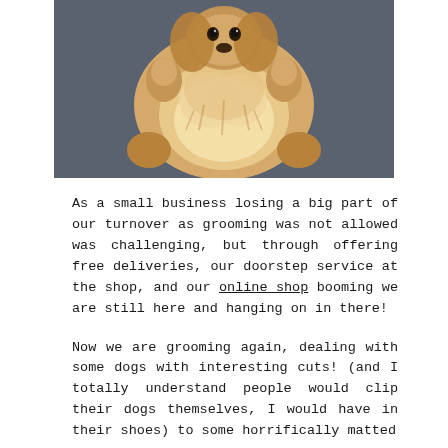[Figure (photo): A golden retriever or similar fluffy dog photographed from above, lying on its back on a dark grey/charcoal surface, paws up in the air, looking up at the camera.]
As a small business losing a big part of our turnover as grooming was not allowed was challenging, but through offering free deliveries, our doorstep service at the shop, and our online shop booming we are still here and hanging on in there!
Now we are grooming again, dealing with some dogs with interesting cuts! (and I totally understand people would clip their dogs themselves, I would have in their shoes) to some horrifically matted